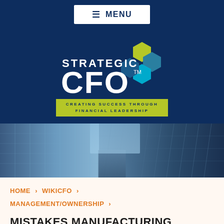≡ MENU
[Figure (logo): Strategic CFO logo with hexagon shapes and tagline 'CREATING SUCCESS THROUGH FINANCIAL LEADERSHIP']
[Figure (photo): Looking up view of glass skyscrapers against blue sky]
HOME > WIKICFO > MANAGEMENT/OWNERSHIP >
MISTAKES MANUFACTURING COMPANIES MAKE